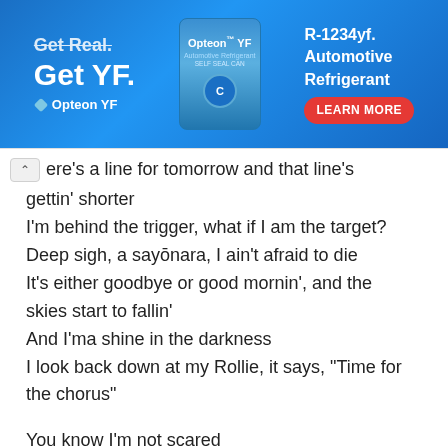[Figure (screenshot): Blue advertisement banner for Opteon YF Automotive Refrigerant featuring product can image, 'Get YF.' text, and a red 'LEARN MORE' button]
ere's a line for tomorrow and that line's gettin' shorter
I'm behind the trigger, what if I am the target?
Deep sigh, a sayōnara, I ain't afraid to die
It's either goodbye or good mornin', and the skies start to fallin'
And I'ma shine in the darkness
I look back down at my Rollie, it says, "Time for the chorus"

You know I'm not scared
Of the dark
(I ain't never scared, I ain't never scared)
I'm not running, running, running
No, I'm not afraid of the fall...